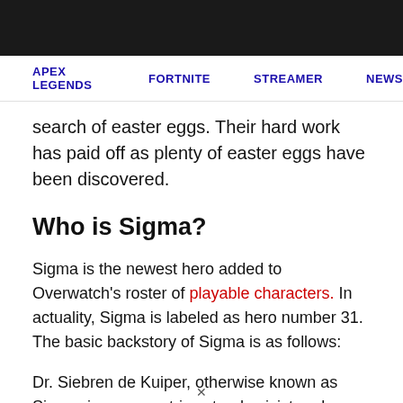APEX LEGENDS   FORTNITE   STREAMER   NEWS
search of easter eggs. Their hard work has paid off as plenty of easter eggs have been discovered.
Who is Sigma?
Sigma is the newest hero added to Overwatch's roster of playable characters. In actuality, Sigma is labeled as hero number 31. The basic backstory of Sigma is as follows:
Dr. Siebren de Kuiper, otherwise known as Sigma, is an eccentric astrophysicist and volatile tank who